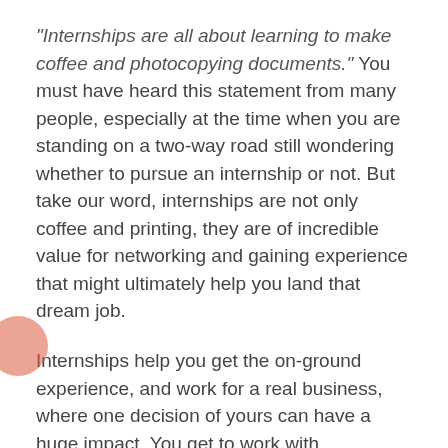“Internships are all about learning to make coffee and photocopying documents.” You must have heard this statement from many people, especially at the time when you are standing on a two-way road still wondering whether to pursue an internship or not. But take our word, internships are not only coffee and printing, they are of incredible value for networking and gaining experience that might ultimately help you land that dream job.
Internships help you get the on-ground experience, and work for a real business, where one decision of yours can have a huge impact. You get to work with companies of all sorts, from start-ups to global leaders, the reason why many students strive to gain this ONE BIG opportunity in their summers.
We caught up with a few students to find out about